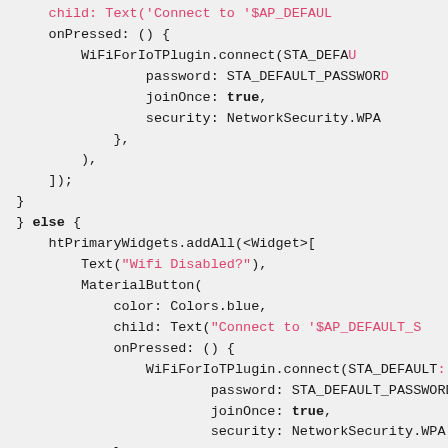[Figure (screenshot): Source code snippet showing Dart/Flutter code with WiFi plugin connection logic including an else branch with htPrimaryWidgets.addAll, Text widget with 'Wifi Disabled?', MaterialButton with color, child, onPressed containing WiFiForIoTPlugin.connect call with password, joinOnce, security parameters, and a return statement.]